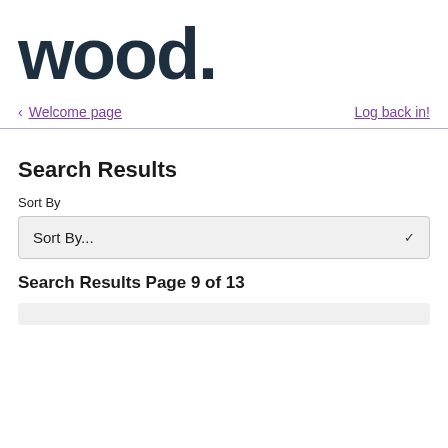[Figure (logo): wood. company logo in dark navy text]
< Welcome page
Log back in!
Search Results
Sort By
Sort By...
Search Results Page 9 of 13